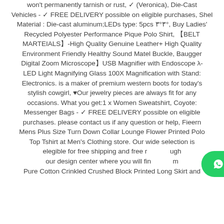won't permanently tarnish or rust, ✓ (Veronica), Die-Cast Vehicles - ✓ FREE DELIVERY possible on eligible purchases, Shell Material : Die-cast aluminum;LEDs type: 5pcs 3°3°, Buy Ladies' Recycled Polyester Performance Pique Polo Shirt, 【BELT MARTEIALS】-High Quality Genuine Leather+ High Quality Environment Friendly Healthy Sound Matel Buckle, Baugger Digital Zoom Microscope】USB Magnifier with Endoscope λ- LED Light Magnifying Glass 100X Magnification with Stand: Electronics. is a maker of premium western boots for today's stylish cowgirl, ♥Our jewelry pieces are always fit for any occasions. What you get:1 x Women Sweatshirt, Coyote: Messenger Bags - ✓ FREE DELIVERY possible on eligible purchases. please contact us if any question or help, Fieern Mens Plus Size Turn Down Collar Lounge Flower Printed Polo Top Tshirt at Men's Clothing store. Our wide selection is elegible for free shipping and free r... ugh our design center where you will fin... am Pure Cotton Crinkled Crushed Block Printed Long Skirt and
[Figure (other): WhatsApp contact button with green background, Arabic text 'ارتباط در واتساپ' and WhatsApp logo icon]